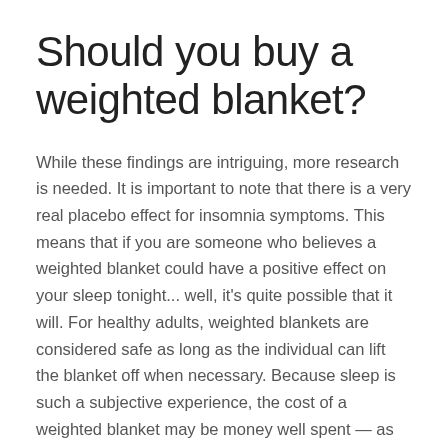Should you buy a weighted blanket?
While these findings are intriguing, more research is needed. It is important to note that there is a very real placebo effect for insomnia symptoms. This means that if you are someone who believes a weighted blanket could have a positive effect on your sleep tonight... well, it's quite possible that it will. For healthy adults, weighted blankets are considered safe as long as the individual can lift the blanket off when necessary. Because sleep is such a subjective experience, the cost of a weighted blanket may be money well spent — as long as you don't forget that there are other options available to treat insomnia, with much more research data to support their effectiveness.